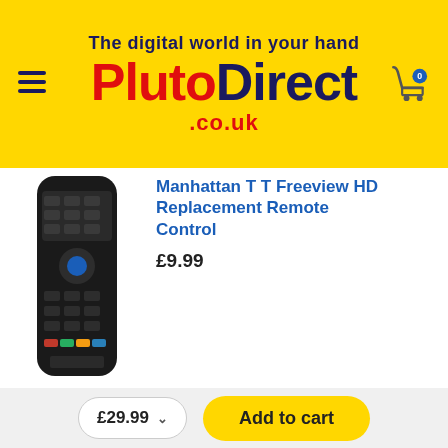The digital world in your hand — PlutoDirect.co.uk
Manhattan T T Freeview HD Replacement Remote Control
£9.99
[Figure (photo): Black Manhattan TV Freeview HD replacement remote control]
Genuine Virgin Media Tivo Remote Control
[Figure (photo): Black Virgin Media Tivo remote control (top portion visible)]
£29.99
Add to cart